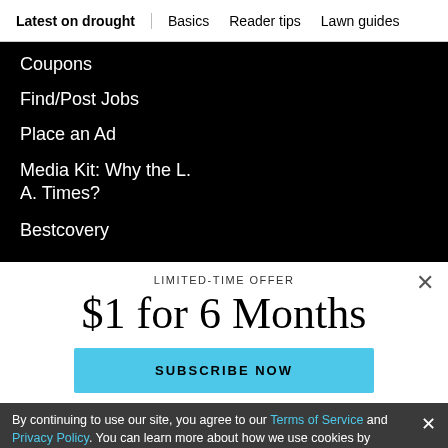Latest on drought | Basics | Reader tips | Lawn guides
Coupons
Find/Post Jobs
Place an Ad
Media Kit: Why the L.A. Times?
Bestcovery
LIMITED-TIME OFFER
$1 for 6 Months
SUBSCRIBE NOW
By continuing to use our site, you agree to our Terms of Service and Privacy Policy. You can learn more about how we use cookies by reviewing our Privacy Policy. Close
L.A.'S OUTDOOR MOVIE FESTIVAL IS BACK!